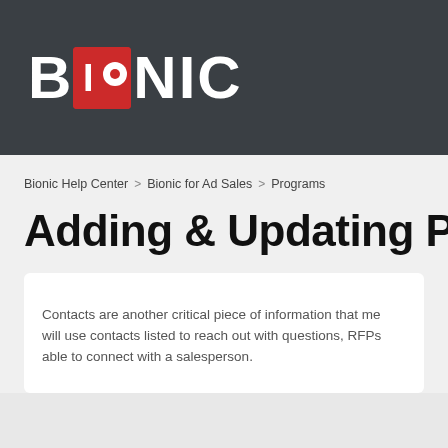[Figure (logo): BIONIC logo on dark gray header bar, white text with red square containing IO letters and a circle]
Bionic Help Center > Bionic for Ad Sales > Programs
Adding & Updating Progr…
Contacts are another critical piece of information that me… will use contacts listed to reach out with questions, RFPs… able to connect with a salesperson.